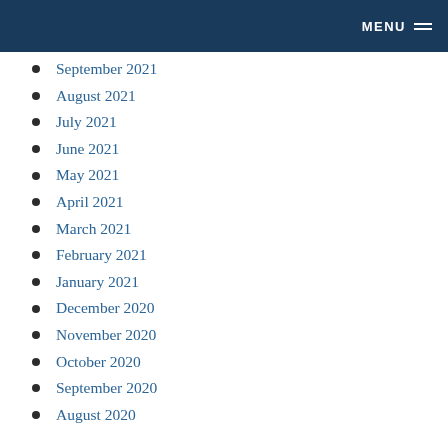MENU
September 2021
August 2021
July 2021
June 2021
May 2021
April 2021
March 2021
February 2021
January 2021
December 2020
November 2020
October 2020
September 2020
August 2020